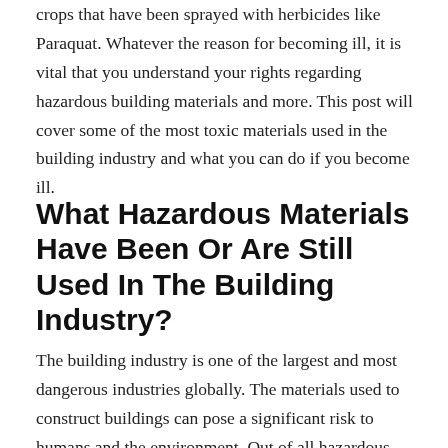crops that have been sprayed with herbicides like Paraquat. Whatever the reason for becoming ill, it is vital that you understand your rights regarding hazardous building materials and more. This post will cover some of the most toxic materials used in the building industry and what you can do if you become ill.
What Hazardous Materials Have Been Or Are Still Used In The Building Industry?
The building industry is one of the largest and most dangerous industries globally. The materials used to construct buildings can pose a significant risk to humans and the environment. Out of all hazardous materials that are used in this industry, asbestos is one of the most commonly